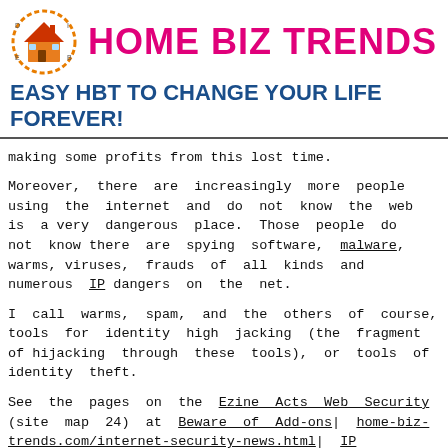[Figure (logo): Home Biz Trends logo: a house icon inside an orange dashed circle]
HOME BIZ TRENDS
EASY HBT TO CHANGE YOUR LIFE FOREVER!
making some profits from this lost time.
Moreover, there are increasingly more people using the internet and do not know the web is a very dangerous place. Those people do not know there are spying software, malware, warms, viruses, frauds of all kinds and numerous IP dangers on the net.
I call warms, spam, and the others of course, tools for identity high jacking (the fragment of hijacking through these tools), or tools of identity theft.
See the pages on the Ezine Acts Web Security (site map 24) at Beware of Add-ons| home-biz-trends.com/internet-security-news.html| IP